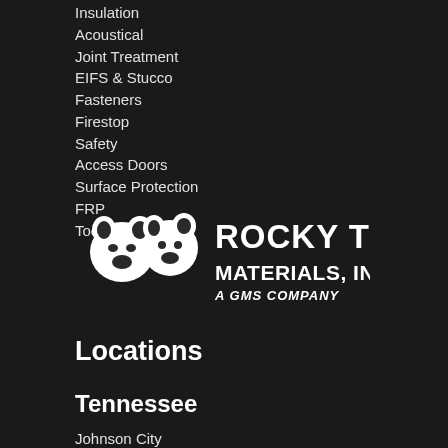Insulation
Acoustical
Joint Treatment
EIFS & Stucco
Fasteners
Firestop
Safety
Access Doors
Surface Protection
FRP
Tools
[Figure (logo): Rocky Top Materials, Inc. — A GMS Company logo with white bear/mountain graphic on dark background]
Locations
Tennessee
Johnson City